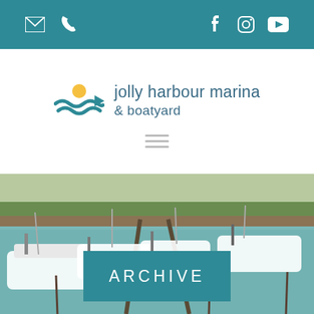Top navigation bar with email, phone, Facebook, Instagram, YouTube icons
[Figure (logo): Jolly Harbour Marina & Boatyard logo with stylized wave and sun graphic]
[Figure (photo): Aerial photograph of Jolly Harbour Marina showing multiple white sailboats and catamarans docked at a marina with turquoise water]
ARCHIVE